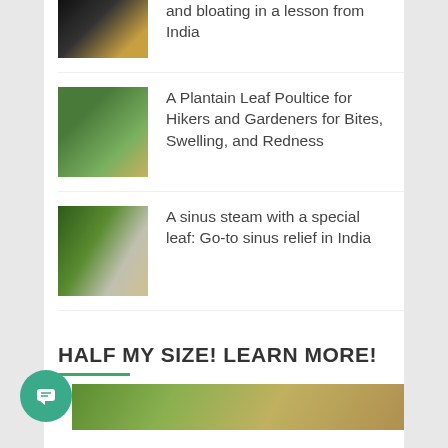and bloating in a lesson from India
A Plantain Leaf Poultice for Hikers and Gardeners for Bites, Swelling, and Redness
A sinus steam with a special leaf: Go-to sinus relief in India
HALF MY SIZE! LEARN MORE!
[Figure (photo): Partial view of a nature/garden image at the bottom of the page]